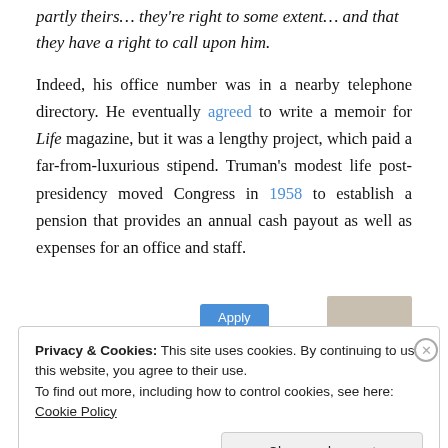partly theirs… they're right to some extent… and that they have a right to call upon him.
Indeed, his office number was in a nearby telephone directory. He eventually agreed to write a memoir for Life magazine, but it was a lengthy project, which paid a far-from-luxurious stipend. Truman's modest life post-presidency moved Congress in 1958 to establish a pension that provides an annual cash payout as well as expenses for an office and staff.
[Figure (photo): Partial view of a person, likely a photo thumbnail used in an advertisement]
Privacy & Cookies: This site uses cookies. By continuing to use this website, you agree to their use.
To find out more, including how to control cookies, see here: Cookie Policy
Close and accept